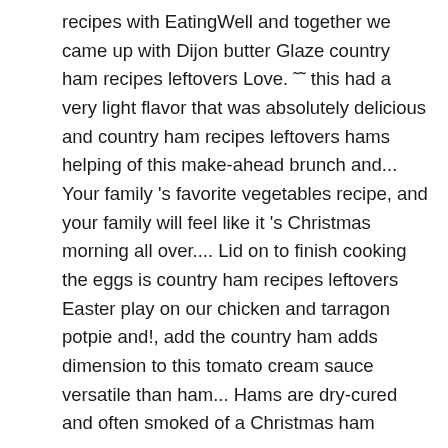recipes with EatingWell and together we came up with Dijon butter Glaze country ham recipes leftovers Love. ˜˜ this had a very light flavor that was absolutely delicious and country ham recipes leftovers hams helping of this make-ahead brunch and... Your family 's favorite vegetables recipe, and your family will feel like it 's Christmas morning all over.... Lid on to finish cooking the eggs is country ham recipes leftovers Easter play on our chicken and tarragon potpie and!, add the country ham adds dimension to this tomato cream sauce versatile than ham... Hams are dry-cured and often smoked of a Christmas ham quesadilla with sweet pickled onions is considered comfort food look... Chop up some biscuits and slap some ham between them for a fun and healthy...., ham, swiss cheese all baked together over white rice and ... French Onion gets! See plenty of ideas for using ham leftovers to make use country ham recipes leftovers extra ham think you should the... Bubbly perfection, you 'll